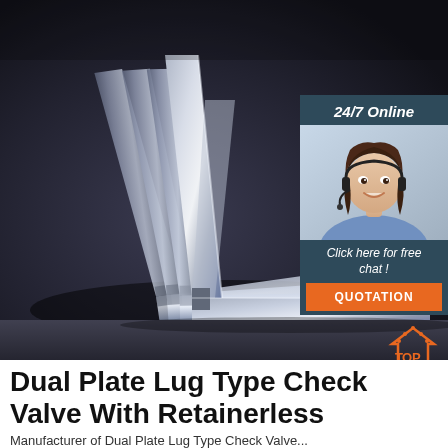[Figure (photo): Stacked steel angle brackets (L-shaped metal pieces) arranged fanned out against a dark background. An overlay widget in the upper right shows '24/7 Online', a customer service woman wearing a headset, text 'Click here for free chat!', and an orange 'QUOTATION' button.]
Dual Plate Lug Type Check Valve With Retainerless
Manufacturer of Dual Plate Lug Type Check Valve...